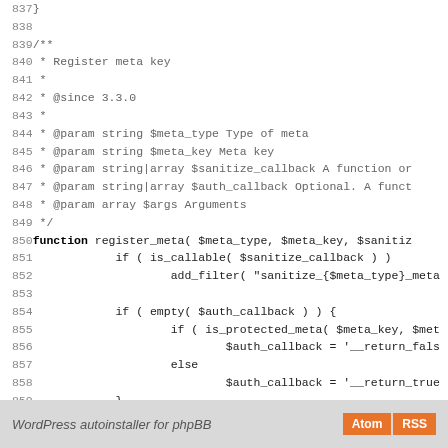Code listing lines 837-865: PHP function register_meta with JSDoc comment block and closing PHP tag
WordPress autoinstaller for phpBB  Atom  RSS